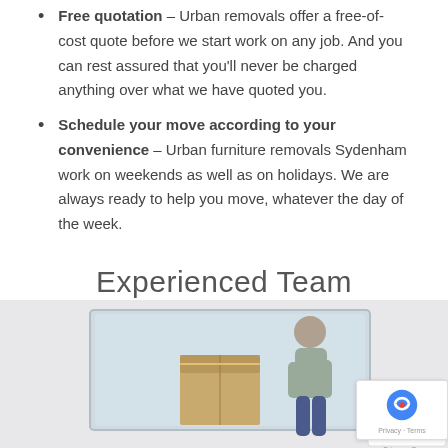Free quotation – Urban removals offer a free-of-cost quote before we start work on any job. And you can rest assured that you'll never be charged anything over what we have quoted you.
Schedule your move according to your convenience – Urban furniture removals Sydenham work on weekends as well as on holidays. We are always ready to help you move, whatever the day of the week.
Experienced Team
[Figure (photo): A person packing boxes with wrapped furniture in the background, with a reCAPTCHA badge overlay in the bottom right corner.]